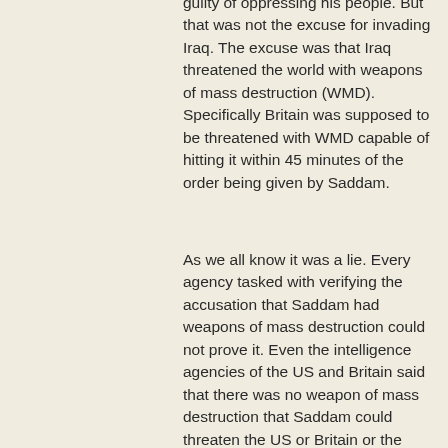guilty of oppressing his people. But that was not the excuse for invading Iraq. The excuse was that Iraq threatened the world with weapons of mass destruction (WMD). Specifically Britain was supposed to be threatened with WMD capable of hitting it within 45 minutes of the order being given by Saddam.
As we all know it was a lie. Every agency tasked with verifying the accusation that Saddam had weapons of mass destruction could not prove it. Even the intelligence agencies of the US and Britain said that there was no weapon of mass destruction that Saddam could threaten the US or Britain or the world with. And today, after months of